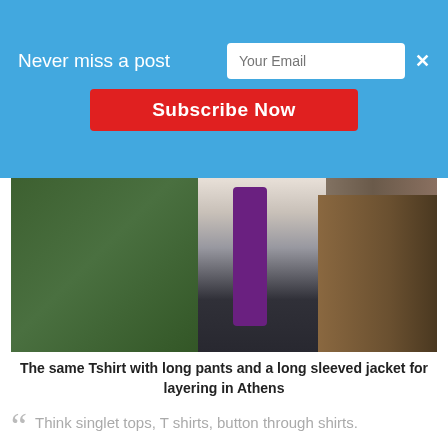[Figure (screenshot): Email subscription banner overlay with blue background, email input field, Subscribe Now red button, and close X button]
[Figure (photo): Person wearing striped T-shirt with purple scarf and dark pants, standing next to a wooden cart, with green fence/garden area in background, in Athens]
The same Tshirt with long pants and a long sleeved jacket for layering in Athens
“ Think singlet tops, T shirts, button through shirts.